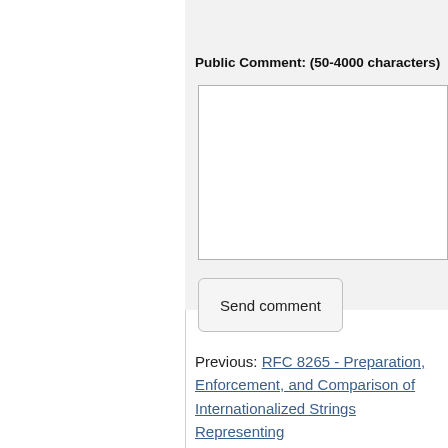Public Comment: (50-4000 characters)
[Figure (screenshot): Empty textarea input field for public comment]
Send comment
Previous: RFC 8265 - Preparation, Enforcement, and Comparison of Internationalized Strings Representing Usernames and Passwords